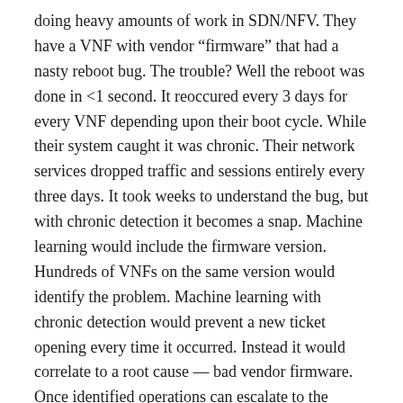doing heavy amounts of work in SDN/NFV. They have a VNF with vendor “firmware” that had a nasty reboot bug. The trouble? Well the reboot was done in <1 second. It reoccured every 3 days for every VNF depending upon their boot cycle. While their system caught it was chronic. Their network services dropped traffic and sessions entirely every three days. It took weeks to understand the bug, but with chronic detection it becomes a snap. Machine learning would include the firmware version. Hundreds of VNFs on the same version would identify the problem. Machine learning with chronic detection would prevent a new ticket opening every time it occurred. Instead it would correlate to a root cause — bad vendor firmware. Once identified operations can escalate to the vendor, but keep their screens clear of all the random reboots.
Takeaways
With proper chronic detection and mitigation operations are